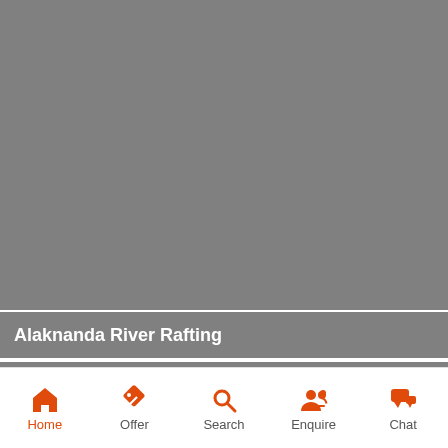[Figure (photo): Gray placeholder image for Alaknanda River Rafting]
Alaknanda River Rafting
[Figure (photo): Gray secondary image with 8 Days badge]
8 Days
Home  Offer  Search  Enquire  Chat